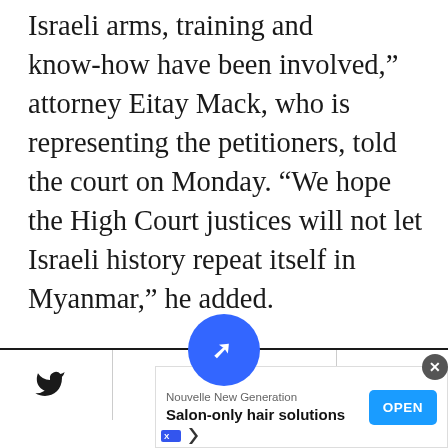Israeli arms, training and know-how have been involved," attorney Eitay Mack, who is representing the petitioners, told the court on Monday. "We hope the High Court justices will not let Israeli history repeat itself in Myanmar," he added.
- Advertisment -
[Figure (other): Social media sharing and navigation bar with Twitter, Facebook, bookmark, and email icons, centered logo button with a compass/arrow icon in blue circle]
[Figure (other): Advertisement banner for Nouvelle New Generation with tagline 'Salon-only hair solutions' and an OPEN button]